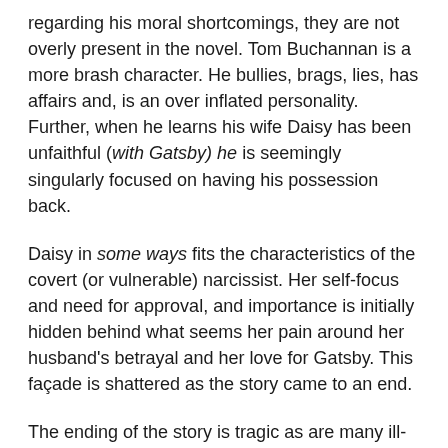regarding his moral shortcomings, they are not overly present in the novel. Tom Buchannan is a more brash character. He bullies, brags, lies, has affairs and, is an over inflated personality. Further, when he learns his wife Daisy has been unfaithful (with Gatsby) he is seemingly singularly focused on having his possession back.
Daisy in some ways fits the characteristics of the covert (or vulnerable) narcissist. Her self-focus and need for approval, and importance is initially hidden behind what seems her pain around her husband's betrayal and her love for Gatsby. This façade is shattered as the story came to an end.
The ending of the story is tragic as are many ill-fated relationships with well defended narcissists. In short summary, the final scenes of the novel include Daisy agreeing to tell Tom that she is in love with Gatsby and is leaving the marriage. Several characters are witness to this